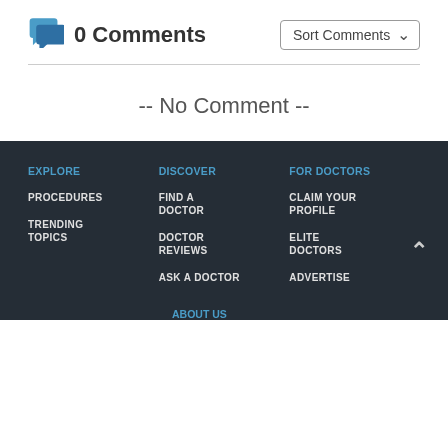0 Comments
-- No Comment --
EXPLORE | DISCOVER | FOR DOCTORS | PROCEDURES | FIND A DOCTOR | CLAIM YOUR PROFILE | TRENDING TOPICS | DOCTOR REVIEWS | ELITE DOCTORS | ASK A DOCTOR | ADVERTISE | ABOUT US